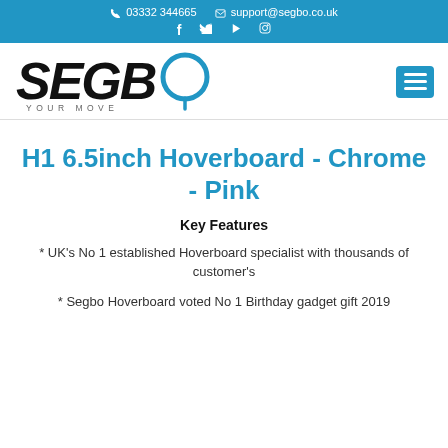📞 03332 344665  ✉ support@segbo.co.uk  f  🐦  ▶  🔲
[Figure (logo): SEGBO YOUR MOVE logo with circular O graphic and blue hamburger menu icon]
H1 6.5inch Hoverboard - Chrome - Pink
Key Features
* UK's No 1 established Hoverboard specialist with thousands of customer's
* Segbo Hoverboard voted No 1 Birthday gadget gift 2019